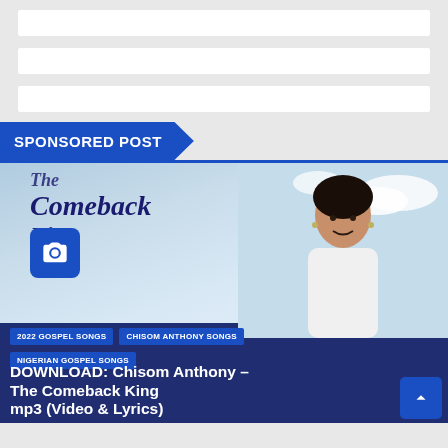[Figure (screenshot): Three white placeholder bars on grey background]
SPONSORED POST
[Figure (photo): Card image showing 'The Comeback King' text with a woman in white dress sitting, with tags: 2022 GOSPEL SONGS, CHISOM ANTHONY SONGS, NIGERIAN GOSPEL SONGS, and headline: DOWNLOAD: Chisom Anthony – The Comeback King mp3 (Video & Lyrics)]